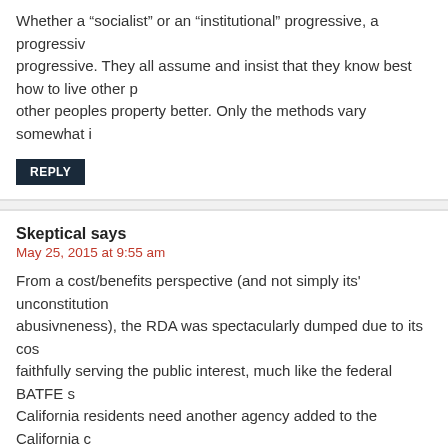Whether a “socialist” or an “institutional” progressive, a progressive. They all assume and insist that they know best how to live other peoples property better. Only the methods vary somewhat in
REPLY
Skeptical says
May 25, 2015 at 9:55 am
From a cost/benefits perspective (and not simply its' unconstitution abusivneness), the RDA was spectacularly dumped due to its cos faithfully serving the public interest, much like the federal BATFE s California residents need another agency added to the California c Assemblyman Luis Alejo, D-Salinas needs another hole in his hea
REPLY
askeptic says
May 25, 2015 at 2:46 pm
The one good thing that Jerry Brown ever did for this state (even i